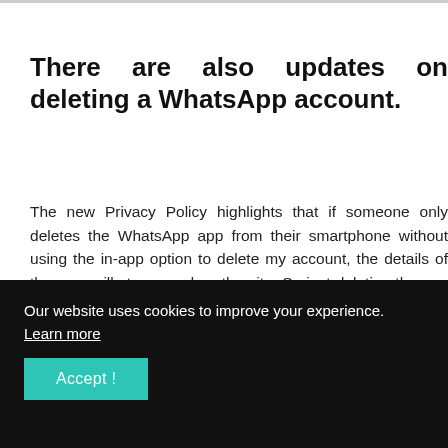There are also updates on deleting a WhatsApp account.
The new Privacy Policy highlights that if someone only deletes the WhatsApp app from their smartphone without using the in-app option to delete my account, the details of the user will stay saved on the site. So just deleting the app from your phone won't be enough.
The privacy policy is being rolled out globally, however, consumers residing in the European Union got just one
Our website uses cookies to improve your experience. Learn more
Accept !